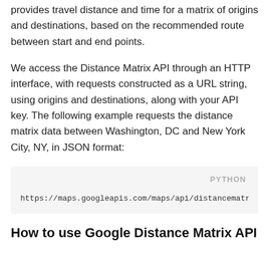provides travel distance and time for a matrix of origins and destinations, based on the recommended route between start and end points.
We access the Distance Matrix API through an HTTP interface, with requests constructed as a URL string, using origins and destinations, along with your API key. The following example requests the distance matrix data between Washington, DC and New York City, NY, in JSON format:
[Figure (screenshot): Code block labeled PYTHON showing a URL: https://maps.googleapis.com/maps/api/distancematrix/json?uni...]
How to use Google Distance Matrix API